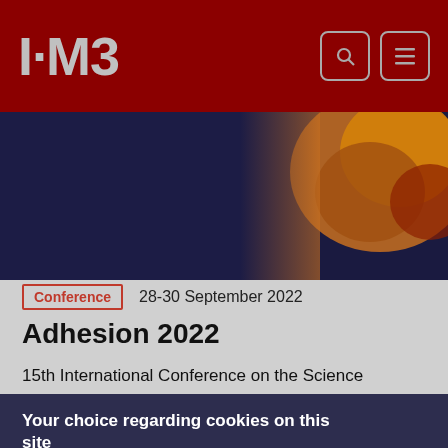I·M3
[Figure (photo): Banner image showing adhesion/material science related imagery with dark blue and orange/golden colors]
Conference  28-30 September 2022
Adhesion 2022
15th International Conference on the Science
Your choice regarding cookies on this site
We use cookies to optimise site functionality and give you the best possible experience.
I Accept Cookies  Settings  ✕